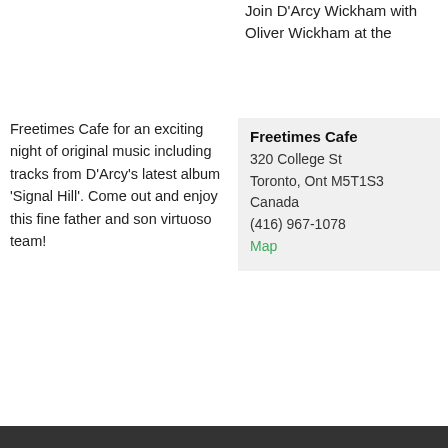Join D'Arcy Wickham with Oliver Wickham at the
Freetimes Cafe for an exciting night of original music including tracks from D'Arcy's latest album 'Signal Hill'. Come out and enjoy this fine father and son virtuoso team!
Freetimes Cafe
320 College St
Toronto, Ont M5T1S3
Canada
(416) 967-1078
Map
More information
+ iCal  + Google Calendar
View full calendar